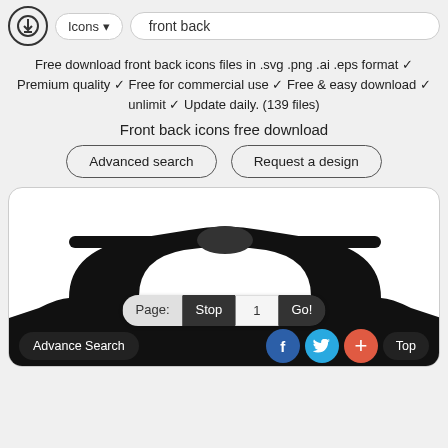[Figure (screenshot): Website UI screenshot showing front back icons page with search bar, description text, buttons, car icon preview, and navigation bar]
Free download front back icons files in .svg .png .ai .eps format ✓ Premium quality ✓ Free for commercial use ✓ Free & easy download ✓ unlimit ✓ Update daily. (139 files)
Front back icons free download
Advanced search
Request a design
Page: Stop 1 Go!
Advance Search
Top